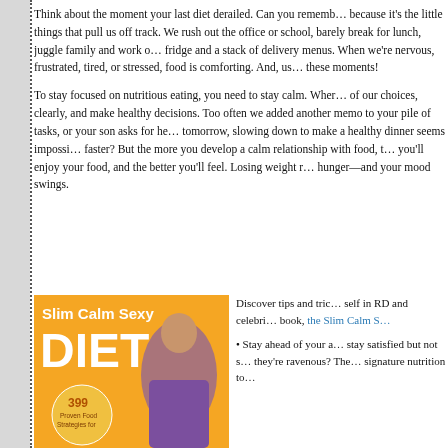Think about the moment your last diet derailed. Can you rememb… because it's the little things that pull us off track. We rush out the office or school, barely break for lunch, juggle family and work o… fridge and a stack of delivery menus. When we're nervous, frustrated, tired, or stressed, food is comforting. And, us… these moments!
To stay focused on nutritious eating, you need to stay calm. Wher… of our choices, clearly, and make healthy decisions. Too often we added another memo to your pile of tasks, or your son asks for he… tomorrow, slowing down to make a healthy dinner seems impossi… faster? But the more you develop a calm relationship with food, t… you'll enjoy your food, and the better you'll feel. Losing weight r… hunger—and your mood swings.
[Figure (photo): Book cover of 'Slim Calm Sexy Diet' with orange background, large white text, and a woman in purple tank top. Subtitle area shows '399 Proven Food Strategies for'.]
Discover tips and tric… self in RD and celebri… book, the Slim Calm S…

• Stay ahead of your a… stay satisfied but not s… they're ravenous? The… signature nutrition to…